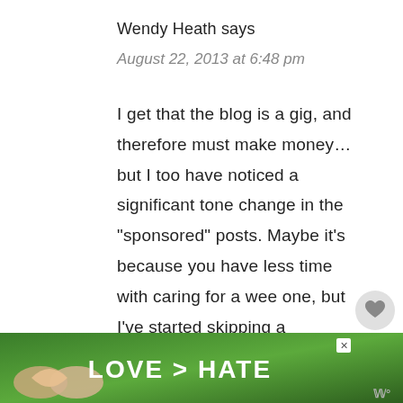Wendy Heath says
August 22, 2013 at 6:48 pm
I get that the blog is a gig, and therefore must make money... but I too have noticed a significant tone change in the “sponsored” posts. Maybe it’s because you have less time with caring for a wee one, but I’ve started skipping a your product focused posts
[Figure (screenshot): Like button (heart icon) and share button overlay on the right side]
[Figure (screenshot): WHAT'S NEXT overlay showing New Friend + Sighting with thumbnail image]
[Figure (screenshot): Advertisement banner at bottom: LOVE > HATE with hands forming heart shape]